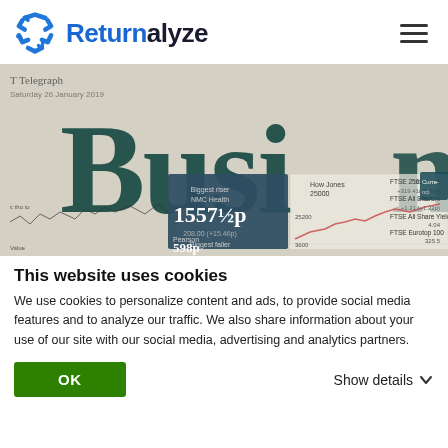Returnalyze
[Figure (photo): Close-up photograph of a financial newspaper showing large 'Busi' headline text, stock market charts, FTSE 250, FTSE All Share, FTSE All Share Yield, FTSE Eurotop 100 data, and Dow Jones chart with price data including 1557½p Biggest riser NMC Health listing.]
This website uses cookies
We use cookies to personalize content and ads, to provide social media features and to analyze our traffic. We also share information about your use of our site with our social media, advertising and analytics partners.
OK
Show details